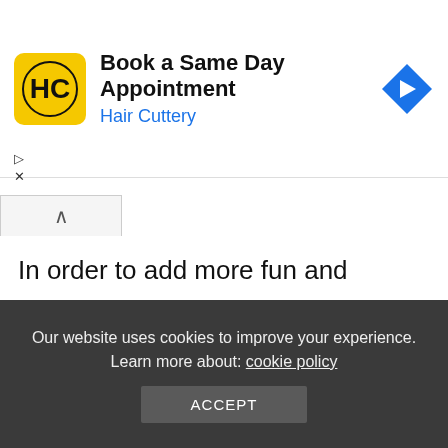[Figure (infographic): Hair Cuttery advertisement banner with logo, text 'Book a Same Day Appointment', 'Hair Cuttery', and a navigation arrow icon]
In order to add more fun and pattern, the designer combined two patterned rugs in this room. The first rug has a more dominant orange color, even though there is a blue accent in it too. The second rug, on the contrary, is dominated by blue. Both rugs
Our website uses cookies to improve your experience. Learn more about: cookie policy
ACCEPT